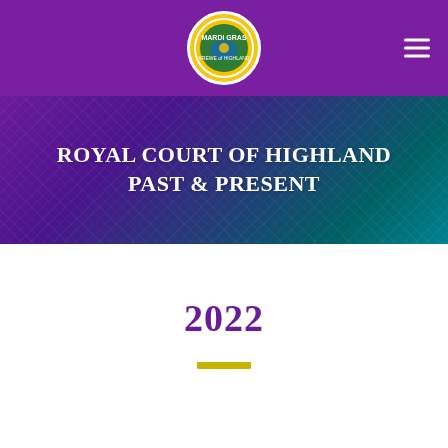Mardi Gras – Krewe of Highland (logo)
ROYAL COURT OF HIGHLAND PAST & PRESENT
2022